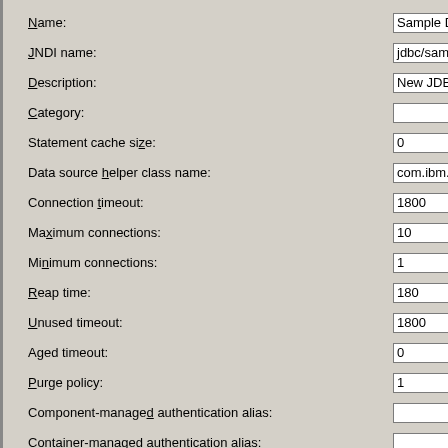[Figure (screenshot): A configuration form panel for a JDBC Data Source with labeled fields and input boxes. Fields include Name, JNDI name, Description, Category, Statement cache size, Data source helper class name, Connection timeout, Maximum connections, Minimum connections, Reap time, Unused timeout, Aged timeout, Purge policy, Component-managed authentication alias, and Container-managed authentication alias. Values shown: Sample Data Source, jdbc/sampleDS, New JDBC Datasource, 0, com.ibm.websphere.rsada..., 1800, 10, 1, 180, 1800, 0, 1.]